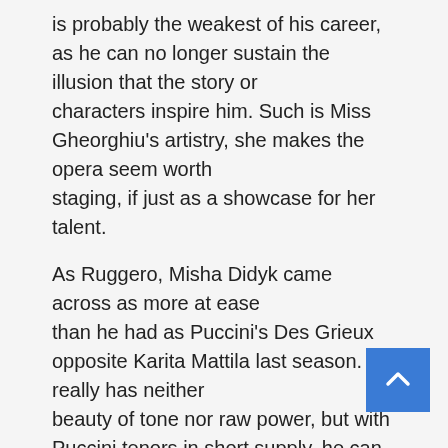is probably the weakest of his career, as he can no longer sustain the illusion that the story or characters inspire him. Such is Miss Gheorghiu's artistry, she makes the opera seem worth staging, if just as a showcase for her talent.

As Ruggero, Misha Didyk came across as more at ease than he had as Puccini's Des Grieux opposite Karita Mattila last season. He really has neither beauty of tone nor raw power, but with Puccini tenors in short supply, he can at least get through the music in representable fashion.
Anna Christy and Gerard Powers both delighted as Rondine's equivalent to Musetta and Marcello, a second couple to contrast with the love story of the opera's main pair. Ion Marin, apparently a favorite of Miss Gheorghiu, scaled the orchestral performance beautifully to her